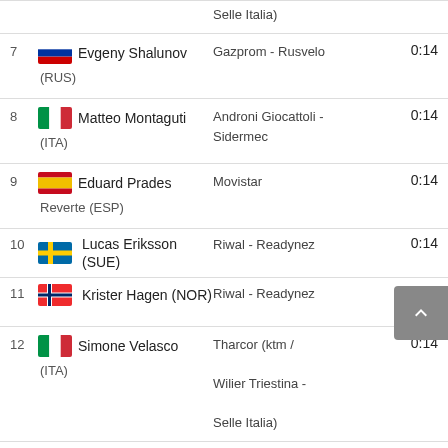Selle Italia)
7 Evgeny Shalunov (RUS) — Gazprom - Rusvelo — 0:14
8 Matteo Montaguti (ITA) — Androni Giocattoli - Sidermec — 0:14
9 Eduard Prades Reverte (ESP) — Movistar — 0:14
10 Lucas Eriksson (SUE) — Riwal - Readynez — 0:14
11 Krister Hagen (NOR) — Riwal - Readynez — 0:14
12 Simone Velasco (ITA) — Tharcor (ktm / Wilier Triestina - Selle Italia) — 0:14
13 Simone Petilli (ITA) — ... — 0:14